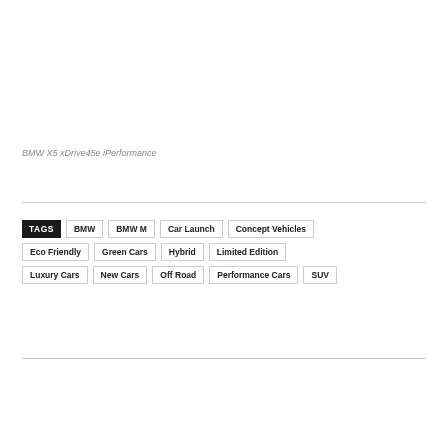BMW X5 xDrive45e iPerformance
TAGS  BMW  BMW M  Car Launch  Concept Vehicles  Eco Friendly  Green Cars  Hybrid  Limited Edition  Luxury Cars  New Cars  Off Road  Performance Cars  SUV